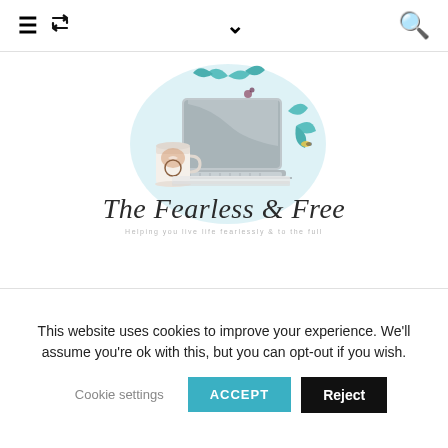≡ 🔁 ∨ 🔍
[Figure (illustration): Blog logo illustration: watercolor-style laptop with coffee cup and floral decorations on a light blue circular background. Below the illustration is a script/italic logotype reading 'The Fearless & Free' with subtitle 'Helping you live life fearlessly & to the full']
Categories
This website uses cookies to improve your experience. We'll assume you're ok with this, but you can opt-out if you wish.
Cookie settings  ACCEPT  Reject